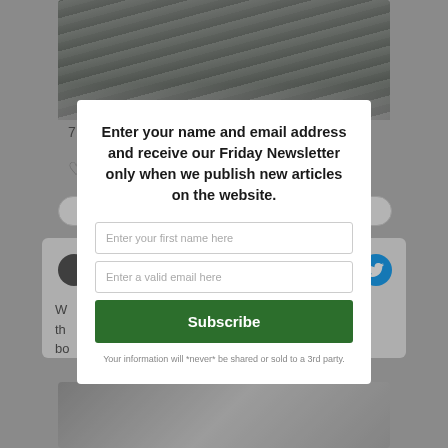[Figure (screenshot): Background webpage screenshot showing golf club irons on grass, social media interface elements, and partial article text, with a modal overlay]
Enter your name and email address and receive our Friday Newsletter only when we publish new articles on the website.
Enter your first name here
Enter a valid email here
Subscribe
Your information will *never* be shared or sold to a 3rd party.